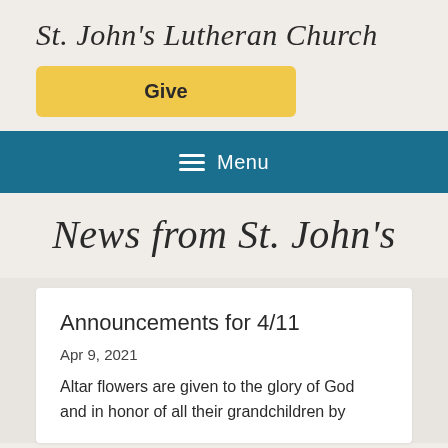St. John's Lutheran Church
Give
[Figure (other): Navigation menu bar with hamburger icon and Menu label on teal/blue background]
News from St. John's
Announcements for 4/11
Apr 9, 2021
Altar flowers are given to the glory of God and in honor of all their grandchildren by